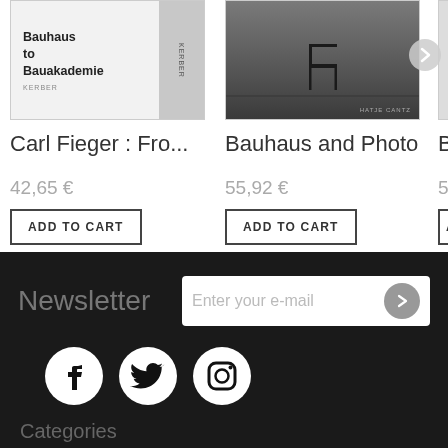[Figure (screenshot): Book cover: Carl Fieger from Bauhaus to Bauakademie, light gray background with text]
Carl Fieger : Fro...
42,65 €
ADD TO CART
[Figure (photo): Black and white photograph of a chair]
Bauhaus and Photo...
55,92 €
ADD TO CART
[Figure (photo): Partial book cover, third product]
Bau
56,8
AD
Newsletter
Enter your e-mail
[Figure (other): Social media icons: Facebook, Twitter, Instagram]
Categories